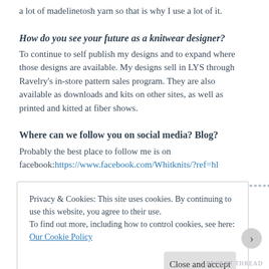a lot of madelinetosh yarn so that is why I use a lot of it.
How do you see your future as a knitwear designer?
To continue to self publish my designs and to expand where those designs are available. My designs sell in LYS through Ravelry’s in-store pattern sales program. They are also available as downloads and kits on other sites, as well as printed and kitted at fiber shows.
Where can we follow you on social media? Blog?
Probably the best place to follow me is on facebook:https://www.facebook.com/Whitknits/?ref=hl
******************************************************************************
Privacy & Cookies: This site uses cookies. By continuing to use this website, you agree to their use.
To find out more, including how to control cookies, see here: Our Cookie Policy
Close and accept